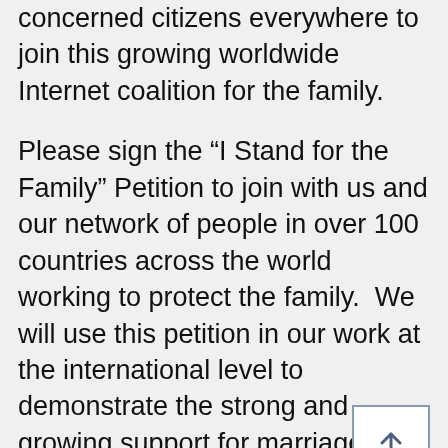concerned citizens everywhere to join this growing worldwide Internet coalition for the family.
Please sign the “I Stand for the Family” Petition to join with us and our network of people in over 100 countries across the world working to protect the family.  We will use this petition in our work at the international level to demonstrate the strong and growing support for marriage, family, life and the rights of parents.
The more signatures we have, the